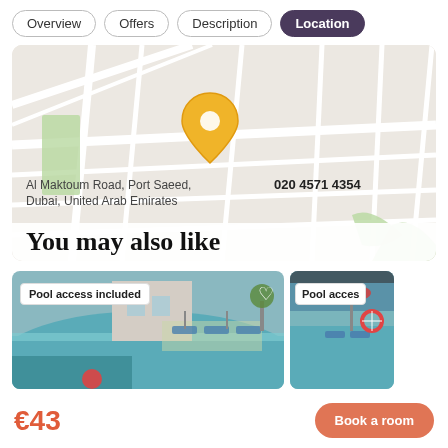Overview | Offers | Description | Location
[Figure (map): Street map showing location pin at Al Maktoum Road, Port Saeed, Dubai, United Arab Emirates with phone number 020 4571 4354]
Al Maktoum Road, Port Saeed,
Dubai, United Arab Emirates
020 4571 4354
You may also like
[Figure (photo): Photo of a hotel swimming pool with lounge chairs and pool access included badge]
Pool access included
[Figure (photo): Second hotel swimming pool photo with Pool access badge partially visible]
Pool acces
€43
Book a room